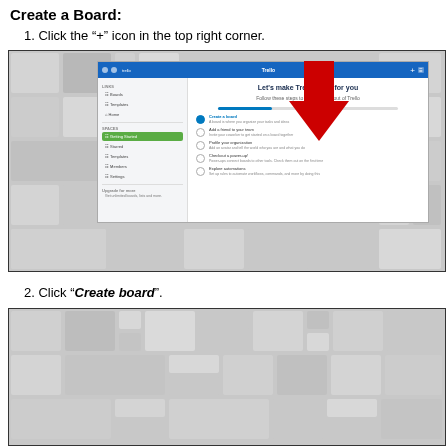Create a Board:
1. Click the "+" icon in the top right corner.
[Figure (screenshot): Screenshot of Trello interface showing the top-right '+' icon with a red arrow pointing to it, and the getting started checklist in the main content area. A sidebar shows navigation options including Boards, Templates, and Home.]
2. Click "Create board".
[Figure (screenshot): Screenshot of Trello interface showing the create board area with a tiled gray background.]